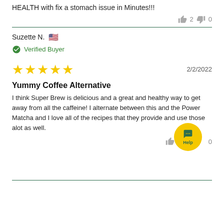HEALTH with fix a stomach issue in Minutes!!!
👍 2  👎 0
Suzette N. 🇺🇸
✅ Verified Buyer
★★★★★  2/2/2022
Yummy Coffee Alternative
I think Super Brew is delicious and a great and healthy way to get away from all the caffeine! I alternate between this and the Power Matcha and I love all of the recipes that they provide and use those alot as well.
👍  0